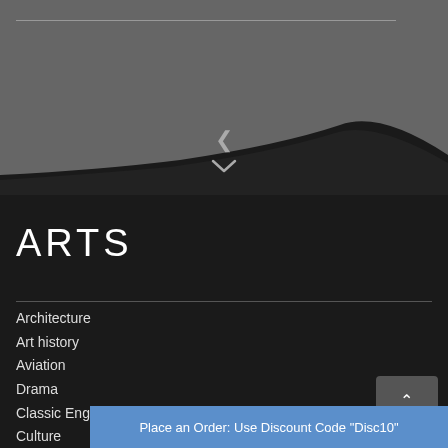[Figure (illustration): Dark grey background section with a horizontal line near the top and a dark mountain/hill silhouette shape at the bottom with a downward chevron arrow icon]
ARTS
Architecture
Art history
Aviation
Drama
Classic English literature
Culture
Place an Order: Use Discount Code "Disc10"